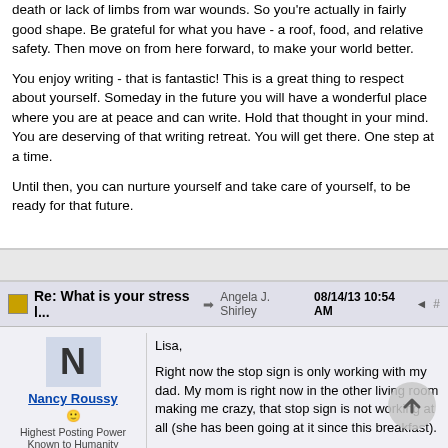death or lack of limbs from war wounds. So you're actually in fairly good shape. Be grateful for what you have - a roof, food, and relative safety. Then move on from here forward, to make your world better.
You enjoy writing - that is fantastic! This is a great thing to respect about yourself. Someday in the future you will have a wonderful place where you are at peace and can write. Hold that thought in your mind. You are deserving of that writing retreat. You will get there. One step at a time.
Until then, you can nurture yourself and take care of yourself, to be ready for that future.
Re: What is your stress l... → Angela J. Shirley 08/14/13 10:54 AM ≪ #
Nancy Roussy — Highest Posting Power Known to Humanity — Joined: Jan 2013 — Posts: 16,487 — Grand-Métis, Quebec,
Lisa,
Right now the stop sign is only working with my dad. My mom is right now in the other living room making me crazy, that stop sign is not working at all (she has been going at it since this breakfast).
She left me a note the other day saying that if they would not go she would...